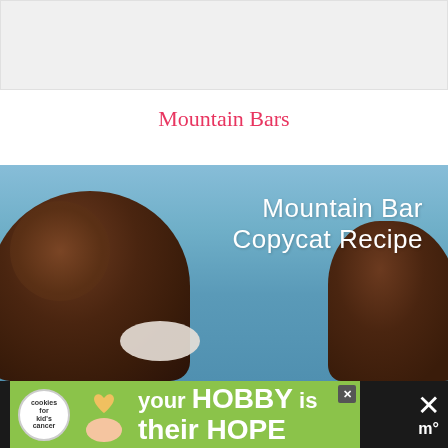[Figure (other): Gray/white banner advertisement placeholder at top of page]
Mountain Bars
[Figure (photo): Photo of chocolate Mountain Bar copycat recipe candy pieces on a white plate against a blue background, with white handwritten-style text reading 'Mountain Bar Copycat Recipe']
[Figure (other): Bottom advertisement banner on dark background showing 'Cookies for Kid's Cancer' logo with heart cookie, hand holding heart cookie, and text 'your HOBBY is their HOPE' on green background, with X close button and mediavine logo on right]